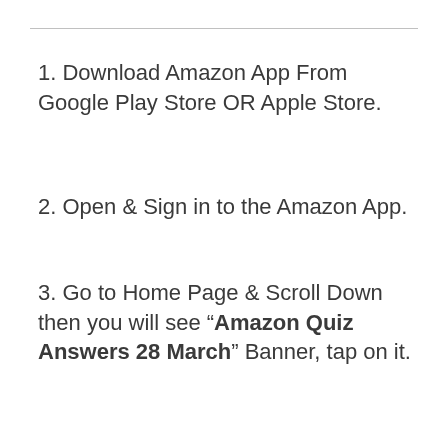1. Download Amazon App From Google Play Store OR Apple Store.
2. Open & Sign in to the Amazon App.
3. Go to Home Page & Scroll Down then you will see “Amazon Quiz Answers 28 March” Banner, tap on it.